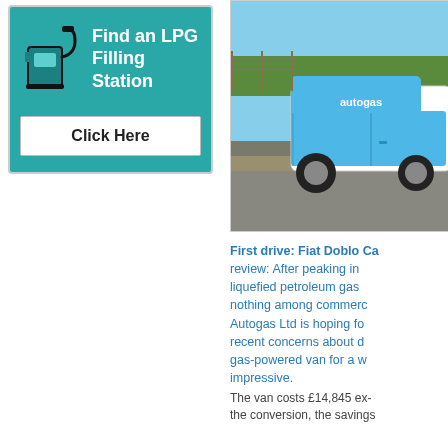[Figure (infographic): Teal box with fuel pump icon and text 'Find an LPG Filling Station' with a white 'Click Here' button below]
[Figure (photo): Photo of a blue and white Autogas van on a road with trees in background]
First drive: Fiat Doblo Ca review: After peaking in liquefied petroleum gas nothing among commerc Autogas Ltd is hoping fo recent concerns about d gas-powered van for a w impressive.
The van costs £14,845 ex- the conversion, the savings